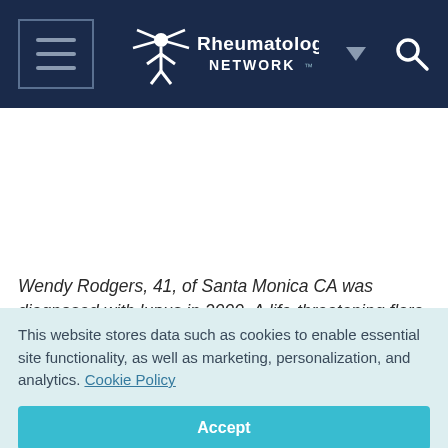[Figure (logo): Rheumatology Network website header with hamburger menu icon, logo, dropdown arrow, and search icon on dark navy background]
Wendy Rodgers, 41, of Santa Monica CA was diagnosed with lupus in 2000. A life-threatening flare put her in intensive care
This website stores data such as cookies to enable essential site functionality, as well as marketing, personalization, and analytics. Cookie Policy
Accept
Deny